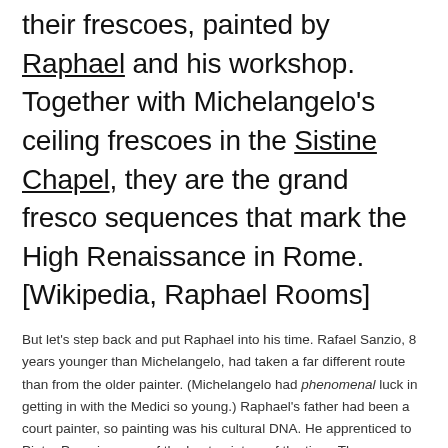their frescoes, painted by Raphael and his workshop. Together with Michelangelo's ceiling frescoes in the Sistine Chapel, they are the grand fresco sequences that mark the High Renaissance in Rome. [Wikipedia, Raphael Rooms]
But let's step back and put Raphael into his time. Rafael Sanzio, 8 years younger than Michelangelo, had taken a far different route than from the older painter. (Michelangelo had phenomenal luck in getting in with the Medici so young.) Raphael's father had been a court painter, so painting was his cultural DNA. He apprenticed to Pietro Perugino, one of the best painters of the time. The young teen apprentice would have started off as studio boy who handled basic art prep and every other chore he was given.